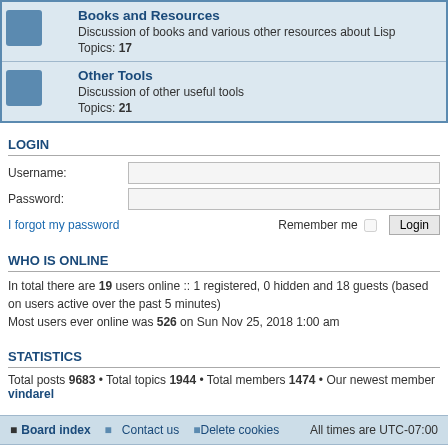| Books and Resources | Discussion of books and various other resources about Lisp | Topics: 17 |
| Other Tools | Discussion of other useful tools | Topics: 21 |
LOGIN
Username:
Password:
I forgot my password
Remember me  Login
WHO IS ONLINE
In total there are 19 users online :: 1 registered, 0 hidden and 18 guests (based on users active over the past 5 minutes)
Most users ever online was 526 on Sun Nov 25, 2018 1:00 am
STATISTICS
Total posts 9683 • Total topics 1944 • Total members 1474 • Our newest member vindarel
Board index   Contact us   Delete cookies   All times are UTC-07:00
Powered by phpBB® Forum Software © phpBB Limited
Privacy | Terms